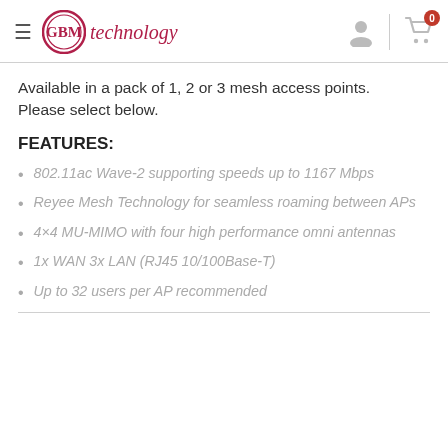GBM technology
Available in a pack of 1, 2 or 3 mesh access points. Please select below.
FEATURES:
802.11ac Wave-2 supporting speeds up to 1167 Mbps
Reyee Mesh Technology for seamless roaming between APs
4×4 MU-MIMO with four high performance omni antennas
1x WAN 3x LAN (RJ45 10/100Base-T)
Up to 32 users per AP recommended